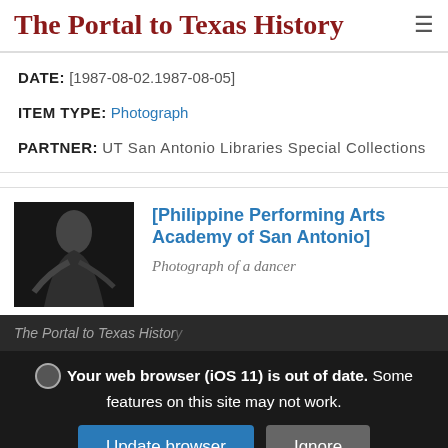The Portal to Texas History
DATE: [1987-08-02.1987-08-05]
ITEM TYPE: Photograph
PARTNER: UT San Antonio Libraries Special Collections
[Figure (photo): Black and white photograph of a dancer, partially visible thumbnail]
[Philippine Performing Arts Academy of San Antonio]
Photograph of a dancer
The Portal to Texas History
Your web browser (iOS 11) is out of date. Some features on this site may not work.
Update browser | Ignore